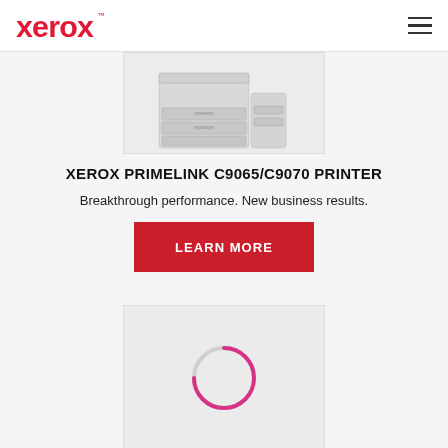Xerox
[Figure (photo): Partial view of Xerox PrimeLink C9065/C9070 printer, large office printer shown from front angle on a light grey background]
XEROX PRIMELINK C9065/C9070 PRINTER
Breakthrough performance. New business results.
LEARN MORE
[Figure (screenshot): Light grey box with a circular loading spinner in pink/magenta and grey colors centered in the box]